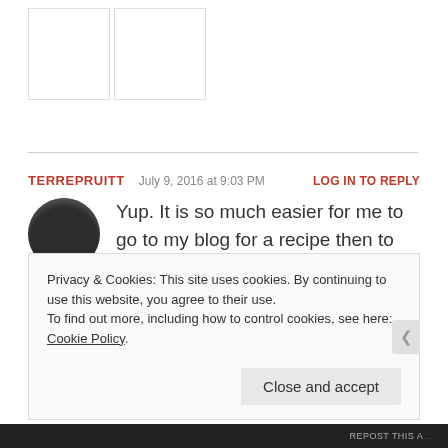[Figure (photo): Two small white placeholder image boxes at top left]
TERREPRUITT   July 9, 2016 at 9:03 PM   LOG IN TO REPLY
[Figure (photo): Circular avatar photo of a person with a cat, dark tones]
Yup. It is so much easier for me to go to my blog for a recipe then to remember where I put the piece of paper that had the recipe on it!
Privacy & Cookies: This site uses cookies. By continuing to use this website, you agree to their use.
To find out more, including how to control cookies, see here: Cookie Policy
Close and accept
REPOST THIS A...